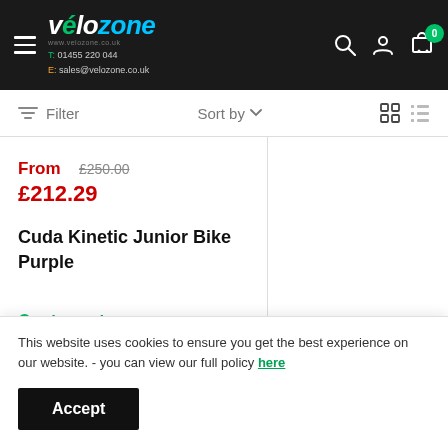[Figure (logo): Velozone logo — 'vélo' in white italic and 'zone' in cyan italic, with website URL subtitle, phone T: 01455 220 044 and email E: sales@velozone.co.uk]
Filter   Sort by   [grid view] [list view]
From £212.29   £250.00
Cuda Kinetic Junior Bike Purple
● 5 in stock
This website uses cookies to ensure you get the best experience on our website. - you can view our full policy here
Accept